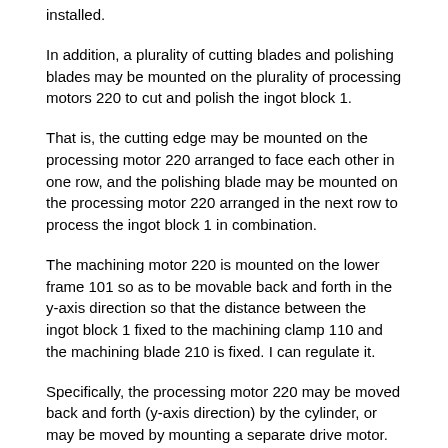installed.
In addition, a plurality of cutting blades and polishing blades may be mounted on the plurality of processing motors 220 to cut and polish the ingot block 1.
That is, the cutting edge may be mounted on the processing motor 220 arranged to face each other in one row, and the polishing blade may be mounted on the processing motor 220 arranged in the next row to process the ingot block 1 in combination.
The machining motor 220 is mounted on the lower frame 101 so as to be movable back and forth in the y-axis direction so that the distance between the ingot block 1 fixed to the machining clamp 110 and the machining blade 210 is fixed. I can regulate it.
Specifically, the processing motor 220 may be moved back and forth (y-axis direction) by the cylinder, or may be moved by mounting a separate drive motor.
The supply unit 300 is mounted on the upper side of the lower frame 101 and disposed on one side of the work table 100 to transfer the ingot block 1 in the direction of the